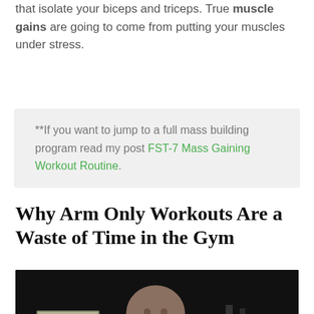that isolate your biceps and triceps. True muscle gains are going to come from putting your muscles under stress.
**If you want to jump to a full mass building program read my post FST-7 Mass Gaining Workout Routine.
Why Arm Only Workouts Are a Waste of Time in the Gym
[Figure (photo): A muscular man in a dark gym taking a selfie while holding a heavy dumbbell, wearing a black tank top with a logo.]